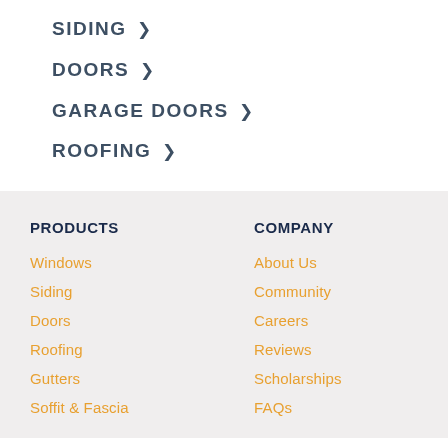SIDING >
DOORS >
GARAGE DOORS >
ROOFING >
PRODUCTS
COMPANY
Windows
About Us
Siding
Community
Doors
Careers
Roofing
Reviews
Gutters
Scholarships
Soffit & Fascia
FAQs